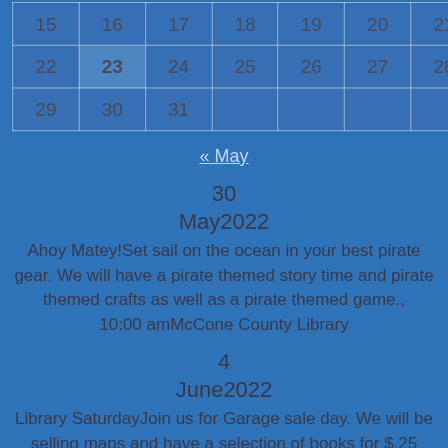| 15 | 16 | 17 | 18 | 19 | 20 | 21 |
| 22 | 23 | 24 | 25 | 26 | 27 | 28 |
| 29 | 30 | 31 |  |  |  |  |
« May
30
May2022
Ahoy Matey!Set sail on the ocean in your best pirate gear. We will have a pirate themed story time and pirate themed crafts as well as a pirate themed game.,
10:00 amMcCone County Library
4
June2022
Library SaturdayJoin us for Garage sale day. We will be selling maps and have a selection of books for $.25 each or 6 for $1